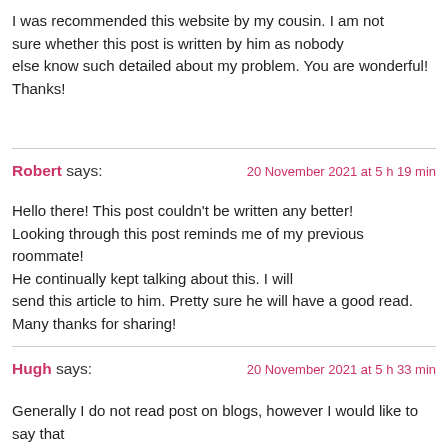I was recommended this website by my cousin. I am not sure whether this post is written by him as nobody else know such detailed about my problem. You are wonderful! Thanks!
Robert says:  20 November 2021 at 5 h 19 min

Hello there! This post couldn't be written any better! Looking through this post reminds me of my previous roommate! He continually kept talking about this. I will send this article to him. Pretty sure he will have a good read. Many thanks for sharing!
Hugh says:  20 November 2021 at 5 h 33 min

Generally I do not read post on blogs, however I would like to say that this...